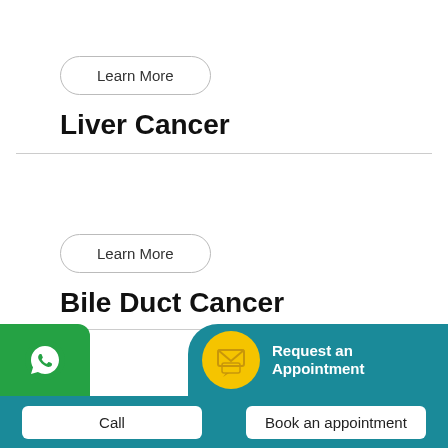Learn More
Liver Cancer
Learn More
Bile Duct Cancer
Request an Appointment
Call
Book an appointment